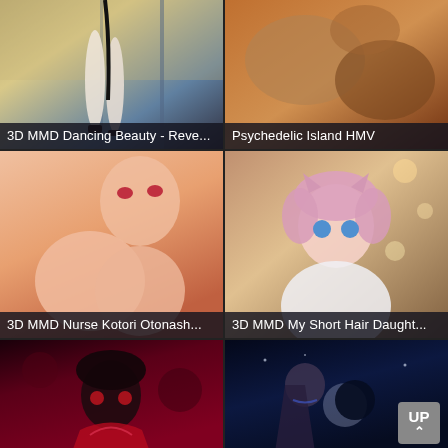[Figure (screenshot): 3D MMD animated character legs in high heels, indoor stage background]
3D MMD Dancing Beauty - Reve...
[Figure (screenshot): Psychedelic animated island scene with abstract animal figures]
Psychedelic Island HMV
[Figure (screenshot): 3D MMD anime nurse character close-up]
3D MMD Nurse Kotori Otonash...
[Figure (screenshot): 3D MMD anime girl with pink short hair and cat ears in white dress]
3D MMD My Short Hair Daught...
[Figure (screenshot): 3D MMD anime girl in red outfit with dark hair]
[Figure (screenshot): 3D MMD anime girl with long dark hair at night scene with moon, UP badge overlay]